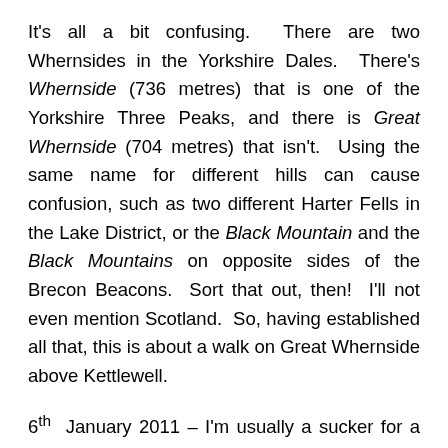It's all a bit confusing. There are two Whernsides in the Yorkshire Dales. There's Whernside (736 metres) that is one of the Yorkshire Three Peaks, and there is Great Whernside (704 metres) that isn't. Using the same name for different hills can cause confusion, such as two different Harter Fells in the Lake District, or the Black Mountain and the Black Mountains on opposite sides of the Brecon Beacons. Sort that out, then! I'll not even mention Scotland. So, having established all that, this is about a walk on Great Whernside above Kettlewell.
6th January 2011 – I'm usually a sucker for a good weather forecast, so when both the Met Office and MWIS (Mountain Weather Information Service) agreed on a 'shiny sun' symbol from noon onwards, a walk up a hill was on the cards. There had been snow the night before,